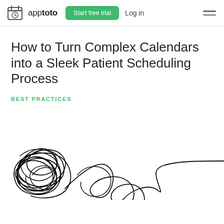apptoto  Start free trial  Log in
How to Turn Complex Calendars into a Sleek Patient Scheduling Process
BEST PRACTICES
[Figure (illustration): Abstract line drawing showing a tangled chaotic scribble on the left that transitions into a smooth flowing line on the right, representing complex calendars being simplified into a sleek process]